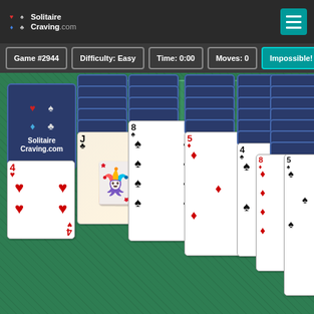[Figure (screenshot): SolitaireCraving.com Solitaire card game screenshot. Game #2944, Difficulty: Easy, Time: 0:00, Moves: 0, labeled Impossible! Stock pile with card back showing, 4 empty foundation slots, tableau with 7 columns of playing cards including visible cards: 4 of hearts, Jack of clubs, 8 of spades, 5 of diamonds, 4 of spades, 8 of diamonds, 5 of spades. Multiple face-down cards in blue backs.]